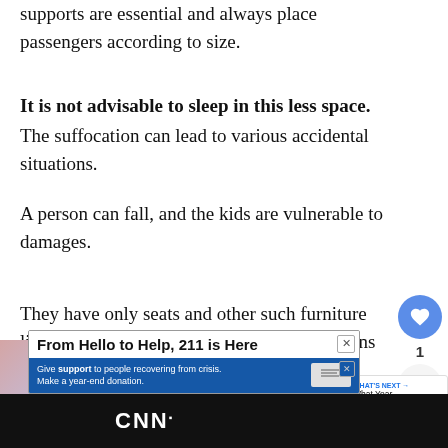supports are essential and always place passengers according to size.
It is not advisable to sleep in this less space.
The suffocation can lead to various accidental situations.
A person can fall, and the kids are vulnerable to damages.
They have only seats and other such furniture lie down for some time. The parked conditions are much suitable to take a nap.
[Figure (screenshot): Advertisement overlay: 'From Hello to Help, 211 is Here' with a sub-banner 'Give support to people recovering from crisis. Make a year-end donation.' over a photo of hands clasped together.]